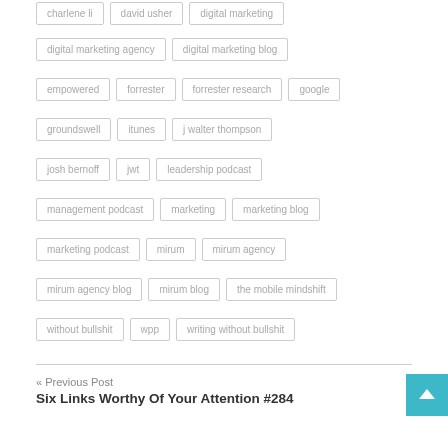charlene li
david usher
digital marketing
digital marketing agency
digital marketing blog
empowered
forrester
forrester research
google
groundswell
itunes
j walter thompson
josh bernoff
jwt
leadership podcast
management podcast
marketing
marketing blog
marketing podcast
mirum
mirum agency
mirum agency blog
mirum blog
the mobile mindshift
without bullshit
wpp
writing without bullshit
« Previous Post
Six Links Worthy Of Your Attention #284